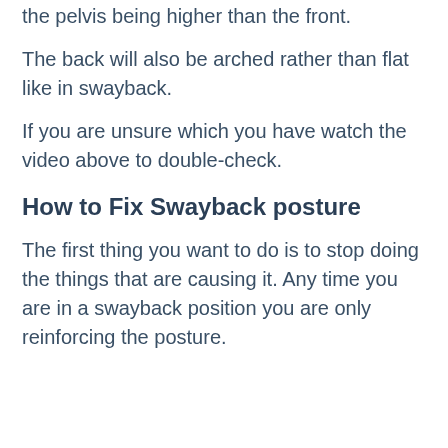the pelvis being higher than the front.
The back will also be arched rather than flat like in swayback.
If you are unsure which you have watch the video above to double-check.
How to Fix Swayback posture
The first thing you want to do is to stop doing the things that are causing it. Any time you are in a swayback position you are only reinforcing the posture.